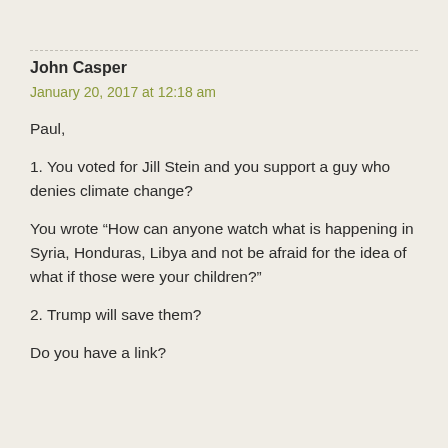John Casper
January 20, 2017 at 12:18 am
Paul,
1. You voted for Jill Stein and you support a guy who denies climate change?
You wrote “How can anyone watch what is happening in Syria, Honduras, Libya and not be afraid for the idea of what if those were your children?”
2. Trump will save them?
Do you have a link?